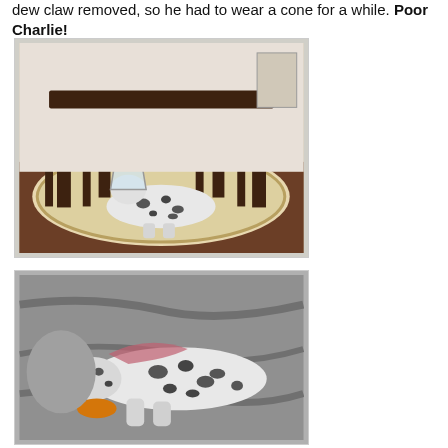dew claw removed, so he had to wear a cone for a while. Poor Charlie!
[Figure (photo): A speckled dog (Dalmatian mix) wearing a transparent medical cone collar, lying on a decorative rug under a dark wood dining table with chairs in a home interior.]
[Figure (photo): A speckled dog (Dalmatian mix) lying on a gray couch or blanket, resting and relaxing, with an orange object partially visible near its paw.]